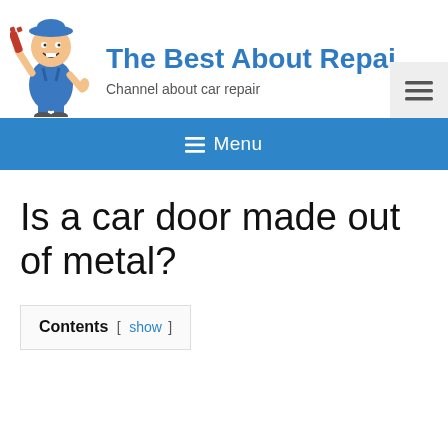[Figure (logo): Cartoon mechanic character holding a wrench, wearing blue overalls and a cap, serving as the site logo]
The Best About Repai
Channel about car repair
[Figure (other): Hamburger menu icon in a light gray square box]
≡ Menu
Is a car door made out of metal?
Contents [ show ]